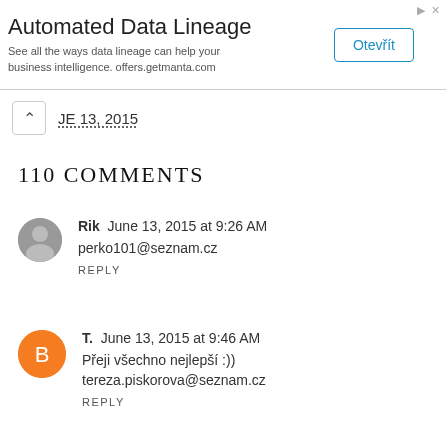[Figure (other): Advertisement banner for Automated Data Lineage service with Otevřít button]
JE 13, 2015
110 COMMENTS
Rik  June 13, 2015 at 9:26 AM
perko101@seznam.cz
REPLY
T.  June 13, 2015 at 9:46 AM
Přeji všechno nejlepší :))
tereza.piskorova@seznam.cz
REPLY